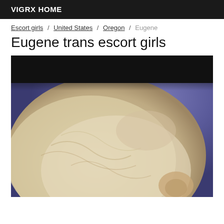VIGRX HOME
Escort girls / United States / Oregon / Eugene
Eugene trans escort girls
[Figure (photo): Close-up photo of a person with light blonde/white hair against a blue/purple background, image partially cropped]